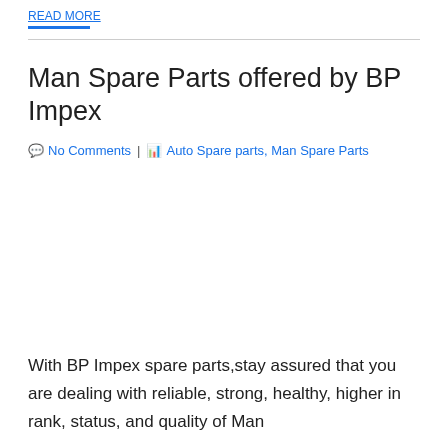READ MORE
Man Spare Parts offered by BP Impex
💬 No Comments | 🏢 Auto Spare parts, Man Spare Parts
With BP Impex spare parts,stay assured that you are dealing with reliable, strong, healthy, higher in rank, status, and quality of Man